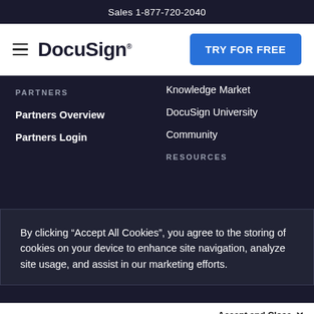Sales 1-877-720-2040
[Figure (logo): DocuSign logo with hamburger menu icon on the left and a blue 'TRY FOR FREE' button on the right]
Knowledge Market
DocuSign University
Community
PARTNERS
Partners Overview
Partners Login
RESOURCES
By clicking “Accept All Cookies”, you agree to the storing of cookies on your device to enhance site navigation, analyze site usage, and assist in our marketing efforts.
DEVELOPERS
Accept and Close ×
Your browser settings do not allow cross-site tracking for advertising. Click on this page to allow AdRoll to use cross-site tracking to tailor ads to you. Learn more or opt out of this AdRoll tracking by clicking here. This message only appears once.